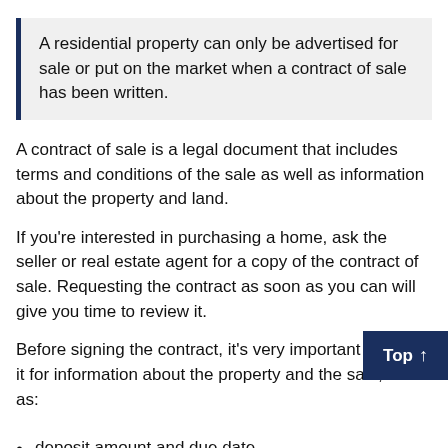A residential property can only be advertised for sale or put on the market when a contract of sale has been written.
A contract of sale is a legal document that includes terms and conditions of the sale as well as information about the property and land.
If you're interested in purchasing a home, ask the seller or real estate agent for a copy of the contract of sale. Requesting the contract as soon as you can will give you time to review it.
Before signing the contract, it's very important to check it for information about the property and the sale, such as:
deposit amount and due date
settlement details